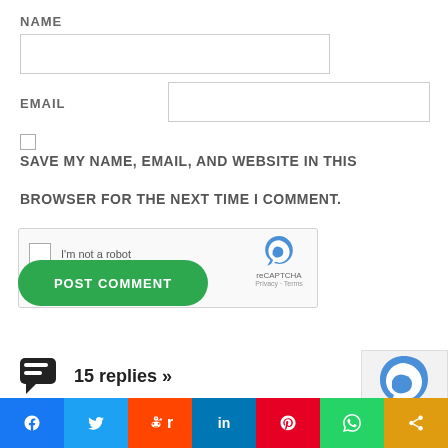NAME
[Figure (screenshot): Name input text field]
EMAIL
[Figure (screenshot): Email input text field]
[Figure (screenshot): Checkbox unchecked]
SAVE MY NAME, EMAIL, AND WEBSITE IN THIS BROWSER FOR THE NEXT TIME I COMMENT.
[Figure (screenshot): reCAPTCHA widget with I'm not a robot checkbox and POST COMMENT green button]
15 replies »
[Figure (screenshot): Social share bar with Facebook, Twitter, Reddit, LinkedIn, Pinterest, WhatsApp, and share buttons]